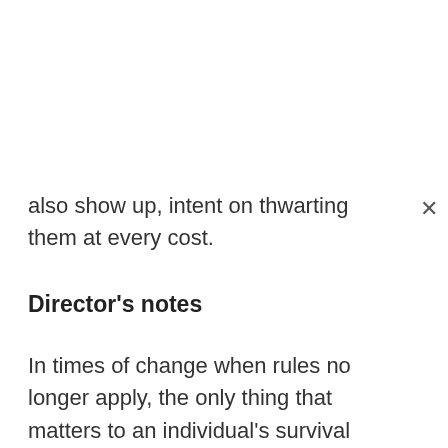also show up, intent on thwarting them at every cost.
Director's notes
In times of change when rules no longer apply, the only thing that matters to an individual's survival is the decision he makes.
Exiled follows a group of wanderers who've been on the road for years but never quite figured out where the end lies. At a midway